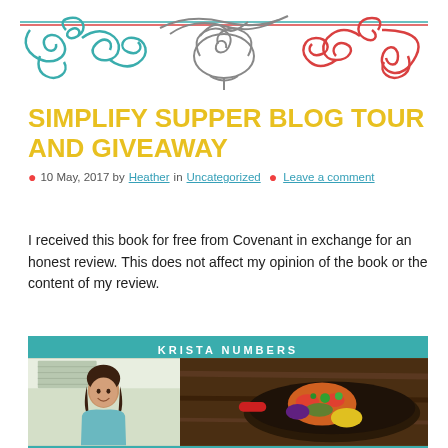[Figure (illustration): Decorative ornamental scroll border in teal/blue on left and red/coral on right with grey center scrollwork, two horizontal colored lines above]
SIMPLIFY SUPPER BLOG TOUR AND GIVEAWAY
10 May, 2017 by Heather in Uncategorized  •  Leave a comment
I received this book for free from Covenant in exchange for an honest review. This does not affect my opinion of the book or the content of my review.
[Figure (photo): Book cover banner showing 'KRISTA NUMBERS' text on teal background with a woman's photo on the left and a food dish photo on the right]